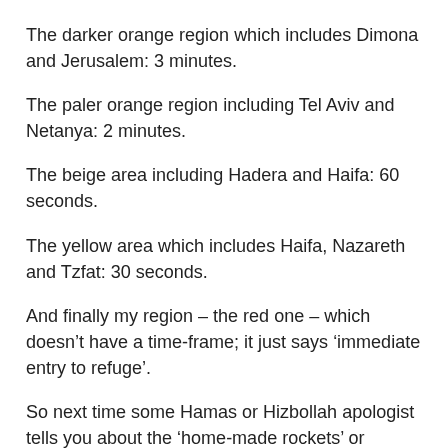The darker orange region which includes Dimona and Jerusalem: 3 minutes.
The paler orange region including Tel Aviv and Netanya: 2 minutes.
The beige area including Hadera and Haifa: 60 seconds.
The yellow area which includes Haifa, Nazareth and Tzfat: 30 seconds.
And finally my region – the red one – which doesn’t have a time-frame; it just says ‘immediate entry to refuge’.
So next time some Hamas or Hizbollah apologist tells you about the ‘home-made rockets’ or ‘firecrackers’, ask them to close their eyes and count to 15, imagining that this is the maximum time available to them to gather up their children,